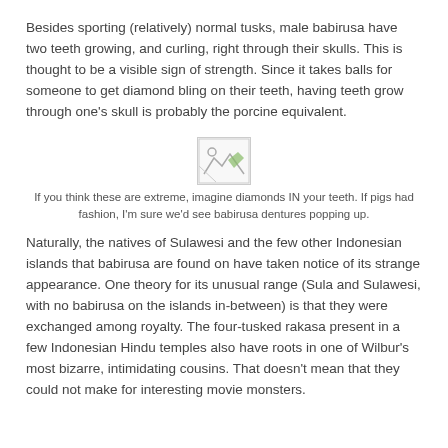Besides sporting (relatively) normal tusks, male babirusa have two teeth growing, and curling, right through their skulls. This is thought to be a visible sign of strength. Since it takes balls for someone to get diamond bling on their teeth, having teeth grow through one's skull is probably the porcine equivalent.
[Figure (photo): A broken/missing image placeholder (small icon with torn image graphic)]
If you think these are extreme, imagine diamonds IN your teeth. If pigs had fashion, I'm sure we'd see babirusa dentures popping up.
Naturally, the natives of Sulawesi and the few other Indonesian islands that babirusa are found on have taken notice of its strange appearance. One theory for its unusual range (Sula and Sulawesi, with no babirusa on the islands in-between) is that they were exchanged among royalty. The four-tusked rakasa present in a few Indonesian Hindu temples also have roots in one of Wilbur's most bizarre, intimidating cousins. That doesn't mean that they could not make for interesting movie monsters.